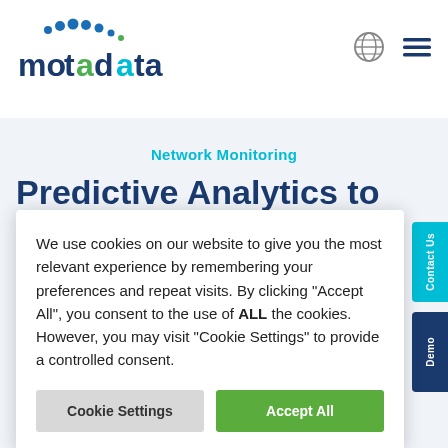[Figure (logo): Motadata logo with colored dots above the text and stylized green 'a' dot]
[Figure (other): Globe icon for language/region selection]
[Figure (other): Hamburger menu icon (three horizontal lines)]
Network Monitoring
Predictive Analytics to … Making
We use cookies on our website to give you the most relevant experience by remembering your preferences and repeat visits. By clicking “Accept All”, you consent to the use of ALL the cookies. However, you may visit “Cookie Settings” to provide a controlled consent.
Cookie Settings
Accept All